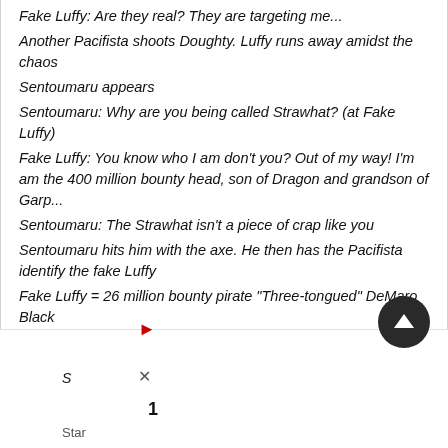Fake Luffy: Are they real? They are targeting me...
Another Pacifista shoots Doughty. Luffy runs away amidst the chaos
Sentoumaru appears
Sentoumaru: Why are you being called Strawhat? (at Fake Luffy)
Fake Luffy: You know who I am don't you? Out of my way! I'm am the 400 million bounty head, son of Dragon and grandson of Garp...
Sentoumaru: The Strawhat isn't a piece of crap like you
Sentoumaru hits him with the axe. He then has the Pacifista identify the fake Luffy
Fake Luffy = 26 million bounty pirate "Three-tongued" DeMaro Black
Everyone realizes he's fake, and are enraged. Luffy finally st